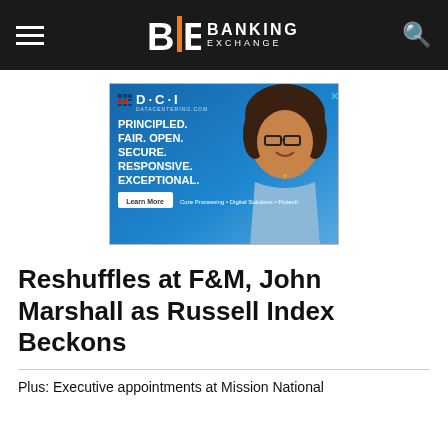Banking Exchange
[Figure (illustration): DCI (Data Centering) advertisement banner with blue gradient background, woman with glasses smiling, text reading PRINCIPLED. FAIR. OPEN. SECURE. RESPONSIVE. EXCEPTIONAL. with Learn More button and Core Processing • Digital Solutions • Fintech tagline]
Reshuffles at F&M, John Marshall as Russell Index Beckons
Plus: Executive appointments at Mission National